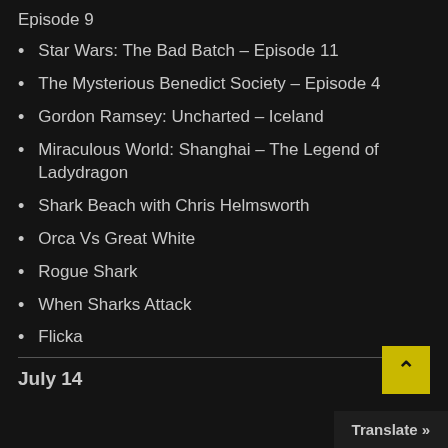Episode 9
Star Wars: The Bad Batch – Episode 11
The Mysterious Benedict Society – Episode 4
Gordon Ramsey: Uncharted – Iceland
Miraculous World: Shanghai – The Legend of Ladydragon
Shark Beach with Chris Helmsworth
Orca Vs Great White
Rogue Shark
When Sharks Attack
Flicka
July 14
Translate »